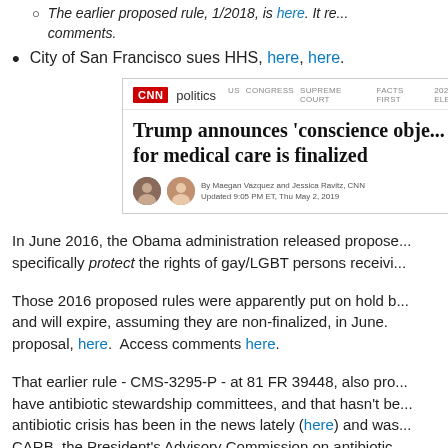The earlier proposed rule, 1/2018, is here. It re... comments.
City of San Francisco sues HHS, here, here.
[Figure (screenshot): CNN Politics screenshot showing headline: Trump announces 'conscience obje... for medical care is finalized. By Maegan Vazquez and Jessica Ravitz, CNN. Updated 9:05 PM ET, Thu May 2, 2019.]
In June 2016, the Obama administration released propose... specifically protect the rights of gay/LGBT persons receivi...
Those 2016 proposed rules were apparently put on hold b... and will expire, assuming they are non-finalized, in June. proposal, here.  Access comments here.
That earlier rule - CMS-3295-P - at 81 FR 39448, also pro... have antibiotic stewardship committees, and that hasn't be... antibiotic crisis has been in the news lately (here) and was... CARB, the President's Advisory Commission on antibiotic...